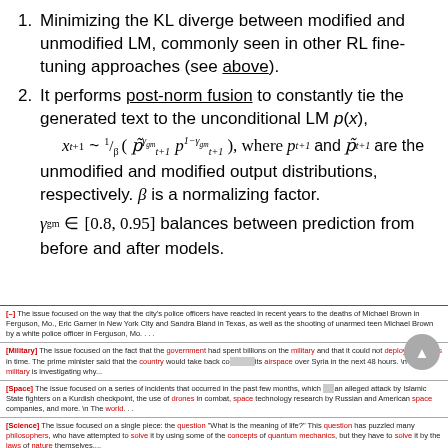Minimizing the KL diverge between modified and unmodified LM, commonly seen in other RL fine-tuning approaches (see above).
It performs post-norm fusion to constantly tie the generated text to the unconditional LM p(x), x_{t+1} ~ 1/β (p̃^{γ_gm}_{t+1} p^{1-γ_gm}_{t+1}), where p_{t+1} and p̃_{t+1} are the unmodified and modified output distributions, respectively. β is a normalizing factor. γ_gm ∈ [0.8, 0.95] balances between prediction from before and after models.
[–] The issue focused on the way that the city's police officers have reacted in recent years to the deaths of Michael Brown in Ferguson, Mo., Eric Garner in New York City and Sandra Bland in Texas, as well as the shooting of unarmed teen Michael Brown by a white police officer in Ferguson, Mo. ...
[Military] The issue focused on the fact that the government had spent billions on the military and that it could not deploy the troops in time. The prime minister said that the country would take back control of its airspace over Syria in the next 48 hours. \n The military is investigating why...
[Space] The issue focused on a series of incidents that occurred in the past few months, which included an alleged attack by Islamic State fighters on a Kurdish checkpoint, the use of drones in combat, space technology research by Russian and American space companies, and more. \n The world...
[Science] The issue focused on a single piece: the question "What is the meaning of life?" This question has puzzled many philosophers, who have attempted to solve it by using some of the concepts of quantum mechanics, but they have to solve it by the laws of nature themselves....
[Politics] The issue focused on a single section of the legislation. It's unclear whether the committee will